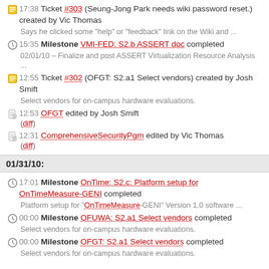17:38 Ticket #303 (Seung-Jong Park needs wiki password reset.) created by Vic Thomas
Says he clicked some "help" or "feedback" link on the Wiki and ...
15:35 Milestone VMI-FED: S2.b ASSERT doc completed
02/01/10 – Finalize and post ASSERT Virtualization Resource Analysis ...
12:55 Ticket #302 (OFGT: S2.a1 Select vendors) created by Josh Smift
Select vendors for on-campus hardware evaluations.
12:53 OFGT edited by Josh Smift
(diff)
12:31 ComprehensiveSecurityPgm edited by Vic Thomas
(diff)
01/31/10:
17:01 Milestone OnTime: S2.c: Platform setup for OnTimeMeasure-GENI completed
Platform setup for "OnTimeMeasure-GENI" Version 1.0 software ...
00:00 Milestone OFUWA: S2.a1 Select vendors completed
Select vendors for on-campus hardware evaluations.
00:00 Milestone OFGT: S2.a1 Select vendors completed
Select vendors for on-campus hardware evaluations.